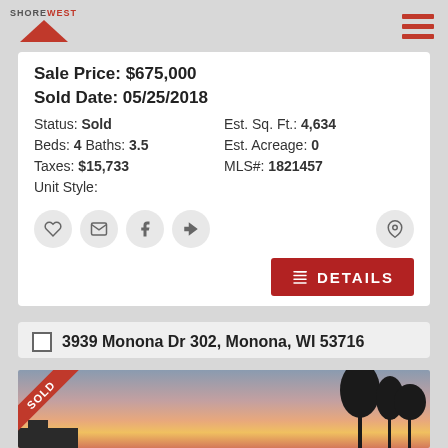[Figure (logo): Shorewest real estate logo with red triangle/house shape and text]
Sale Price: $675,000
Sold Date: 05/25/2018
Status: Sold   Est. Sq. Ft.: 4,634
Beds: 4  Baths: 3.5   Est. Acreage: 0
Taxes: $15,733   MLS#: 1821457
Unit Style:
[Figure (infographic): Row of action icon buttons: heart, email/envelope, facebook, share/arrow, and map pin on right]
DETAILS button
3939 Monona Dr 302, Monona, WI 53716
[Figure (photo): Property photo showing sunset sky with pink/orange hues, tree silhouettes on right, and a SOLD ribbon in top-left corner]